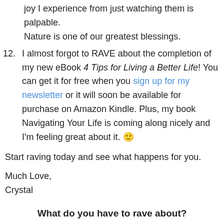joy I experience from just watching them is palpable. Nature is one of our greatest blessings.
12. I almost forgot to RAVE about the completion of my new eBook 4 Tips for Living a Better Life! You can get it for free when you sign up for my newsletter or it will soon be available for purchase on Amazon Kindle. Plus, my book Navigating Your Life is coming along nicely and I'm feeling great about it. 🙂
Start raving today and see what happens for you.
Much Love,
Crystal
What do you have to rave about?
For everyone that comments with a rave, I'll put your name in a drawing for a Free Rave or Soothing Session